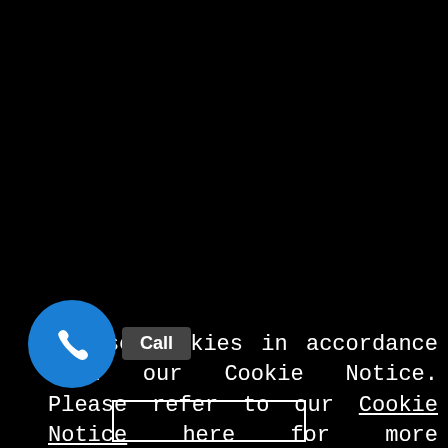We use cookies in accordance with our Cookie Notice. Please refer to our Cookie Notice here for more information on how we use cookies and how to adjust your browser settings to block cookies. If you consent to the use of cookies, please click Accept. We will not ask for consent for strictly necessary cookies, but if you choose to block strictly necessary cookies, may affect your experience.
[Figure (illustration): Blue circular call button with white phone handset icon, and a 'Call' label on dark background]